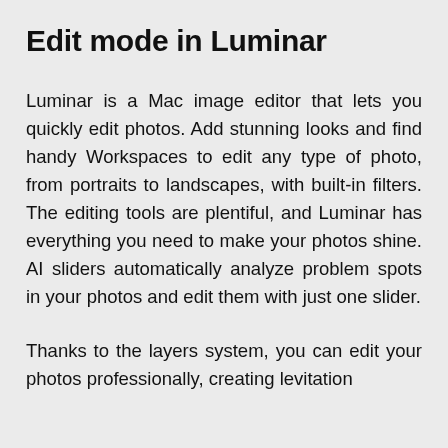Edit mode in Luminar
Luminar is a Mac image editor that lets you quickly edit photos. Add stunning looks and find handy Workspaces to edit any type of photo, from portraits to landscapes, with built-in filters. The editing tools are plentiful, and Luminar has everything you need to make your photos shine. AI sliders automatically analyze problem spots in your photos and edit them with just one slider.
Thanks to the layers system, you can edit your photos professionally, creating levitation